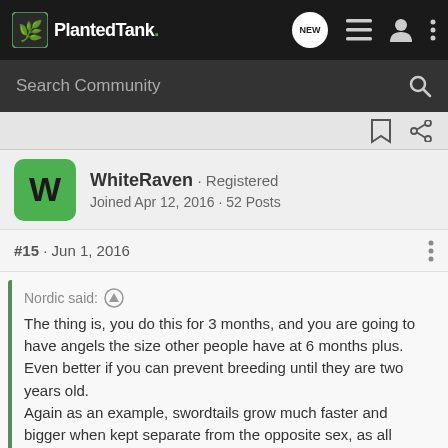PlantedTank - Search Community
WhiteRaven · Registered
Joined Apr 12, 2016 · 52 Posts
#15 · Jun 1, 2016
Nordic said: ↑
The thing is, you do this for 3 months, and you are going to have angels the size other people have at 6 months plus.
Even better if you can prevent breeding until they are two years old.
Again as an example, swordtails grow much faster and bigger when kept separate from the opposite sex, as all energy goes into feeding.
Babies need many small meals a day, because they have tiny
Click to expand